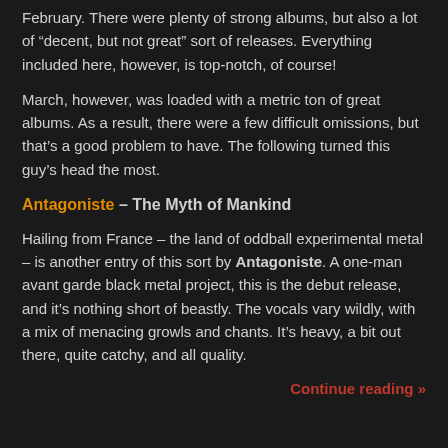February. There were plenty of strong albums, but also a lot of “decent, but not great” sort of releases. Everything included here, however, is top-notch, of course!
March, however, was loaded with a metric ton of great albums. As a result, there were a few difficult omissions, but that’s a good problem to have. The following turned this guy’s head the most.
Antagoniste – The Myth of Mankind
Hailing from France – the land of oddball experimental metal – is another entry of this sort by Antagoniste. A one-man avant garde black metal project, this is the debut release, and it’s nothing short of beastly. The vocals vary wildly, with a mix of menacing growls and chants. It’s heavy, a bit out there, quite catchy, and all quality.
Continue reading »